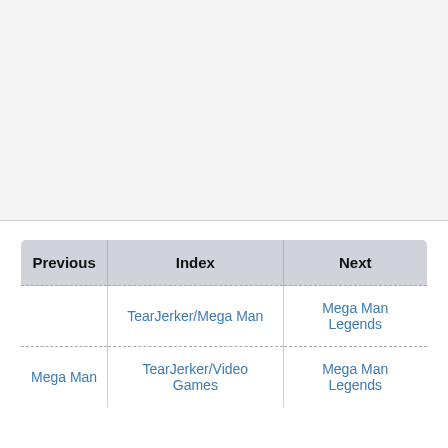| Previous | Index | Next |
| --- | --- | --- |
|  | TearJerker/Mega Man | Mega Man Legends |
| Mega Man | TearJerker/Video Games | Mega Man Legends |